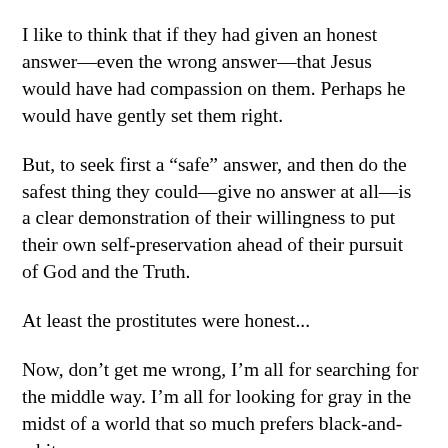I like to think that if they had given an honest answer—even the wrong answer—that Jesus would have had compassion on them. Perhaps he would have gently set them right.
But, to seek first a “safe” answer, and then do the safest thing they could—give no answer at all—is a clear demonstration of their willingness to put their own self-preservation ahead of their pursuit of God and the Truth.
At least the prostitutes were honest...
Now, don’t get me wrong, I’m all for searching for the middle way. I’m all for looking for gray in the midst of a world that so much prefers black-and-white.
But, people who pursue the Kingdom of God and the